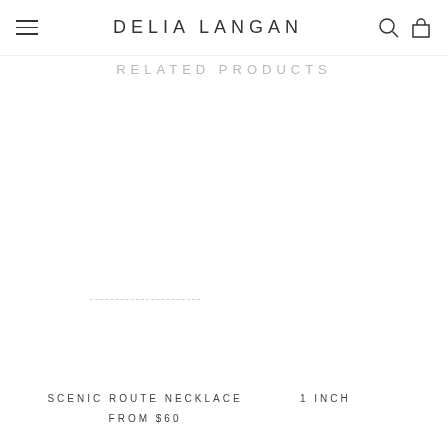DELIA LANGAN
RELATED PRODUCTS
[Figure (photo): Product image area for Scenic Route Necklace (mostly blank/white with faint dashed line in center)]
SCENIC ROUTE NECKLACE
FROM $60
1 INCH